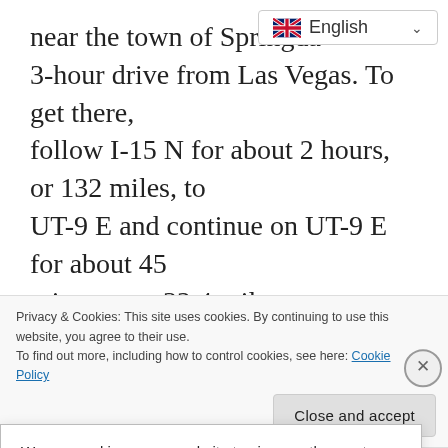near the town of Springda… 3-hour drive from Las Vegas. To get there, follow I-15 N for about 2 hours, or 132 miles, to UT-9 E and continue on UT-9 E for about 45 minutes, or 32.4 miles.
[Figure (screenshot): Language selector dropdown showing English with UK flag]
If you plan on leaving Las Vegas early in the … t of … has yummy
We use cookies on our website to give you the most relevant experience by remembering your preferences and repeat visits. By
Privacy & Cookies: This site uses cookies. By continuing to use this website, you agree to their use. To find out more, including how to control cookies, see here: Cookie Policy
Close and accept